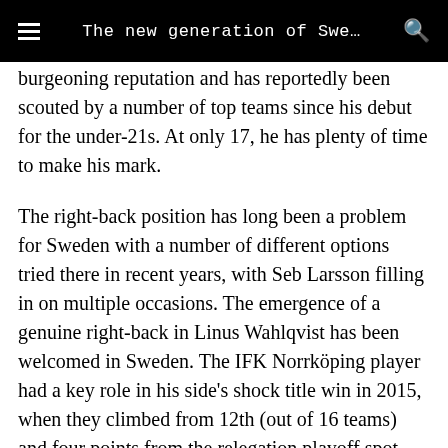The new generation of Swe…
burgeoning reputation and has reportedly been scouted by a number of top teams since his debut for the under-21s. At only 17, he has plenty of time to make his mark.
The right-back position has long been a problem for Sweden with a number of different options tried there in recent years, with Seb Larsson filling in on multiple occasions. The emergence of a genuine right-back in Linus Wahlqvist has been welcomed in Sweden. The IFK Norrköping player had a key role in his side's shock title win in 2015, when they climbed from 12th (out of 16 teams) and four points from the relegation playoff spot